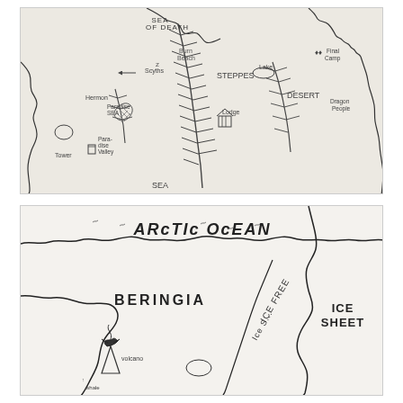[Figure (map): Hand-drawn fantasy map showing regions labeled: SEA OF DEATH (top), STEPPES (center), DESERT (right), PARADISE SEA (left center), Paradise Valley (left center), Hermon (left), Tower (lower left), SEA (bottom), Lake (upper right center), Lodge (center), Final Camp (upper right), Dragon People (right), Scyths (upper left). Mountain ranges drawn as feathered lines.]
[Figure (map): Hand-drawn map showing ARCTIC OCEAN (top), BERINGIA (center), ICE SHEET (right), ICE FREE corridor, Volcano (lower left), whale (lower left), bird illustration. Coastlines and ice boundaries drawn in pen.]